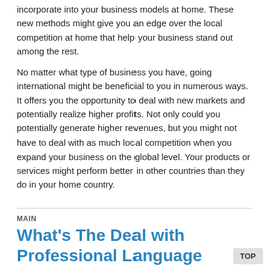incorporate into your business models at home. These new methods might give you an edge over the local competition at home that help your business stand out among the rest.
No matter what type of business you have, going international might be beneficial to you in numerous ways. It offers you the opportunity to deal with new markets and potentially realize higher profits. Not only could you potentially generate higher revenues, but you might not have to deal with as much local competition when you expand your business on the global level. Your products or services might perform better in other countries than they do in your home country.
MAIN
What's The Deal with Professional Language Translation
May 15, 2014 By TechBlogger
Since I used to be a translator working for a professional language translation company before, I know that the services of translators are needed. I translated thousands of documents most of them had